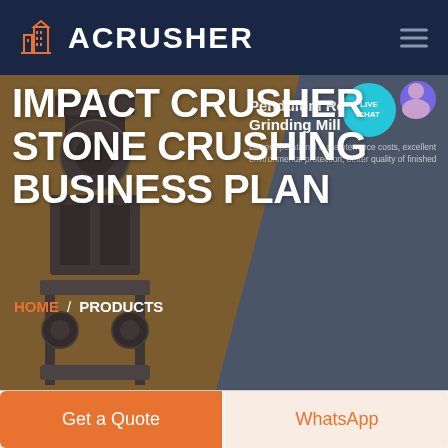ACRUSHER
IMPACT CRUSHER STONE CRUSHING BUSINESS PLAN
[Figure (screenshot): Website screenshot showing ACRUSHER branding with a Pendulum Roller Grinding Mill product panel on the right side, including text 'Lower operational & maintenance costs, excellent environmental protection, better quality of finished', and a LIVE CHAT bubble]
HOME / PRODUCTS
Get a Quote
WhatsApp